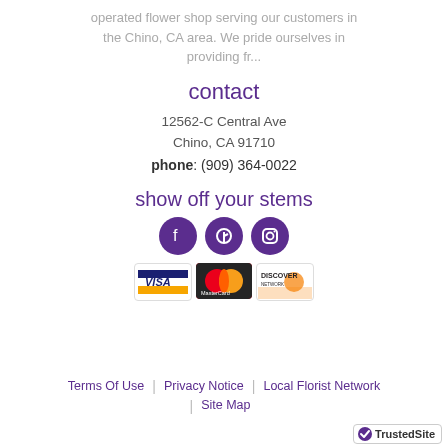operated flower shop serving our customers in the Chino, CA area. We pride ourselves in providing fr...
contact
12562-C Central Ave
Chino, CA 91710
phone: (909) 364-0022
show off your stems
[Figure (other): Three purple circular social media icons: Facebook, Pinterest, Instagram]
[Figure (other): Payment method logos: Visa, MasterCard, Discover]
Terms Of Use | Privacy Notice | Local Florist Network | Site Map
[Figure (logo): TrustedSite badge with checkmark]